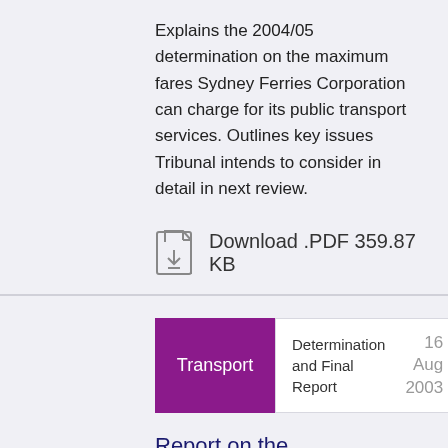Explains the 2004/05 determination on the maximum fares Sydney Ferries Corporation can charge for its public transport services. Outlines key issues Tribunal intends to consider in detail in next review.
Download .PDF 359.87 KB
Transport
Determination and Final Report
16 Aug 2003
Report on the Determination of NSW Public Transport Fares - CityRail and State Transit